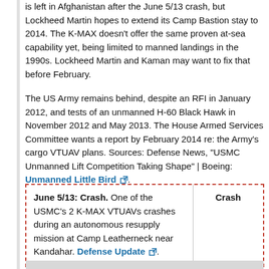is left in Afghanistan after the June 5/13 crash, but Lockheed Martin hopes to extend its Camp Bastion stay to 2014. The K-MAX doesn't offer the same proven at-sea capability yet, being limited to manned landings in the 1990s. Lockheed Martin and Kaman may want to fix that before February.
The US Army remains behind, despite an RFI in January 2012, and tests of an unmanned H-60 Black Hawk in November 2012 and May 2013. The House Armed Services Committee wants a report by February 2014 re: the Army's cargo VTUAV plans. Sources: Defense News, "USMC Unmanned Lift Competition Taking Shape" | Boeing: Unmanned Little Bird.
| Description | Tag |
| --- | --- |
| June 5/13: Crash. One of the USMC's 2 K-MAX VTUAVs crashes during an autonomous resupply mission at Camp Leatherneck near Kandahar. Defense Update. | Crash |